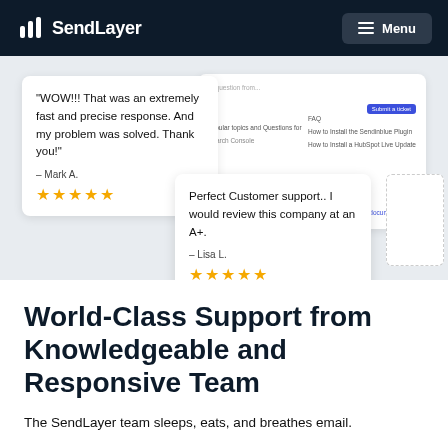SendLayer — Menu
[Figure (screenshot): Screenshot of SendLayer website showing two customer review cards with 5-star ratings and a support ticket interface in the background. Review 1 by Mark A.: 'WOW!!! That was an extremely fast and precise response. And my problem was solved. Thank you!' — 5 stars. Review 2 by Lisa L.: 'Perfect Customer support.. I would review this company at an A+.' — 5 stars.]
World-Class Support from Knowledgeable and Responsive Team
The SendLayer team sleeps, eats, and breathes email.